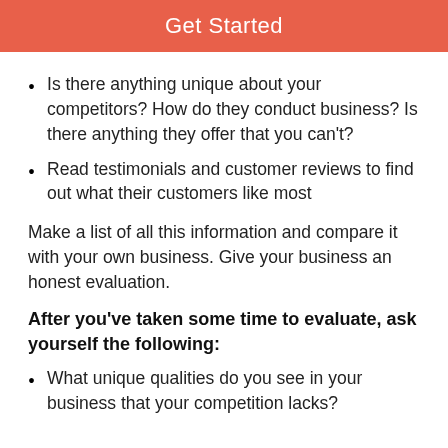Get Started
Is there anything unique about your competitors? How do they conduct business? Is there anything they offer that you can't?
Read testimonials and customer reviews to find out what their customers like most
Make a list of all this information and compare it with your own business. Give your business an honest evaluation.
After you've taken some time to evaluate, ask yourself the following:
What unique qualities do you see in your business that your competition lacks?